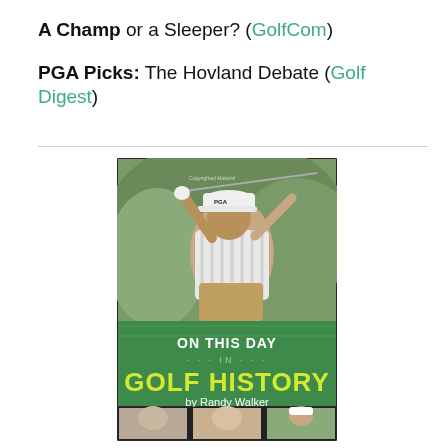A Champ or a Sleeper? (GolfCom)
PGA Picks: The Hovland Debate (Golf Digest)
[Figure (photo): Book cover of 'On This Day in Golf History by Randy Walker' featuring a golfer mid-swing (Tiger Woods) on the top half, with the book title in white and yellow text on a green background, and smaller golfer photos along the bottom.]